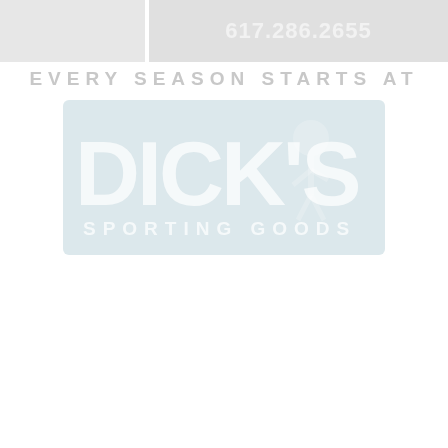[Figure (photo): Top banner area with two sections: left gray image section and right gray section showing phone number 617.286.2655]
617.286.2655
EVERY SEASON STARTS AT
[Figure (logo): Dick's Sporting Goods logo on light blue-gray background with large white DICK'S text and SPORTING GOODS below, with basketball player silhouette]